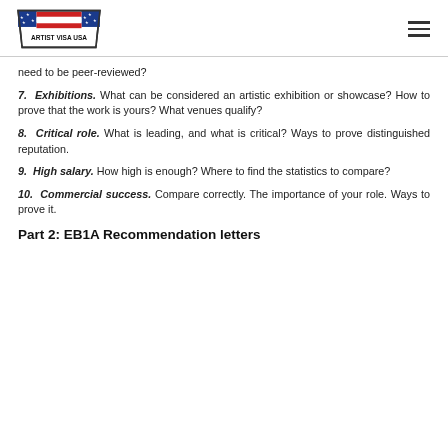ARTIST VISA USA [logo] [hamburger menu]
need to be peer-reviewed?
7. Exhibitions. What can be considered an artistic exhibition or showcase? How to prove that the work is yours? What venues qualify?
8. Critical role. What is leading, and what is critical? Ways to prove distinguished reputation.
9. High salary. How high is enough? Where to find the statistics to compare?
10. Commercial success. Compare correctly. The importance of your role. Ways to prove it.
Part 2: EB1A Recommendation letters